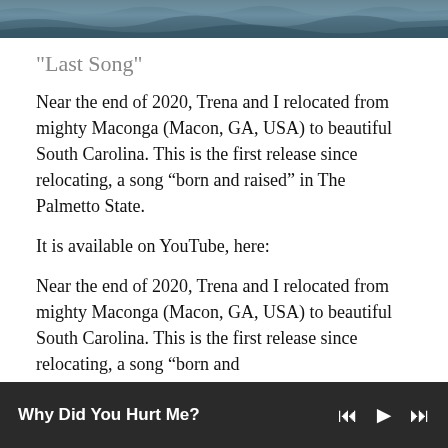[Figure (photo): Ocean or water scene image cropped at the top of the page]
"Last Song"
Near the end of 2020, Trena and I relocated from mighty Maconga (Macon, GA, USA) to beautiful South Carolina.  This is the first release since relocating, a song “born and raised” in The Palmetto State.
It is available on YouTube, here:
Near the end of 2020, Trena and I relocated from mighty Maconga (Macon, GA, USA) to beautiful South Carolina.  This is the first release since relocating, a song “born and
Why Did You Hurt Me?